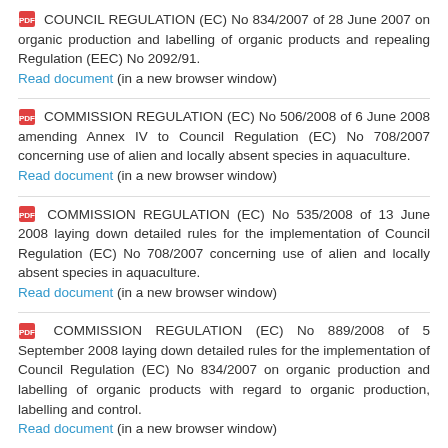COUNCIL REGULATION (EC) No 834/2007 of 28 June 2007 on organic production and labelling of organic products and repealing Regulation (EEC) No 2092/91. Read document (in a new browser window)
COMMISSION REGULATION (EC) No 506/2008 of 6 June 2008 amending Annex IV to Council Regulation (EC) No 708/2007 concerning use of alien and locally absent species in aquaculture. Read document (in a new browser window)
COMMISSION REGULATION (EC) No 535/2008 of 13 June 2008 laying down detailed rules for the implementation of Council Regulation (EC) No 708/2007 concerning use of alien and locally absent species in aquaculture. Read document (in a new browser window)
COMMISSION REGULATION (EC) No 889/2008 of 5 September 2008 laying down detailed rules for the implementation of Council Regulation (EC) No 834/2007 on organic production and labelling of organic products with regard to organic production, labelling and control. Read document (in a new browser window)